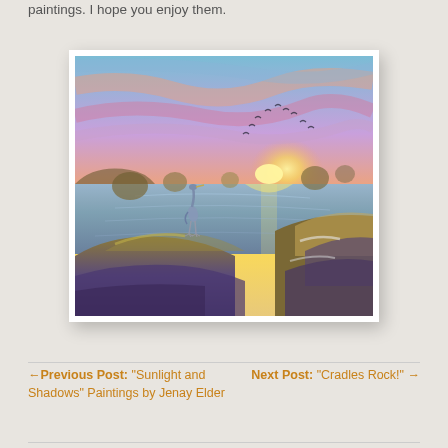paintings. I hope you enjoy them.
[Figure (illustration): A colorful painting of a coastal sunset scene with a heron standing on rocks in the foreground, sea stacks in the background, birds flying against a pink and golden sky, and vivid reflections on the water.]
← Previous Post: "Sunlight and Shadows" Paintings by Jenay Elder
Next Post: "Cradles Rock!" →